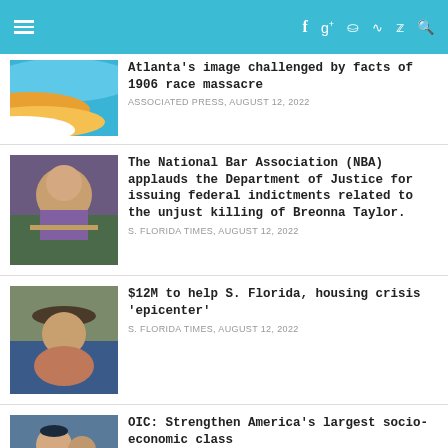≡  f  g+  p  rss  twitter  search
[Figure (photo): Colorful wave logo with orange and blue colors]
Atlanta's image challenged by facts of 1906 race massacre
ASSOCIATED PRESS, AUGUST 12, 2022
[Figure (photo): Protest scene with portrait of Breonna Taylor]
The National Bar Association (NBA) applauds the Department of Justice for issuing federal indictments related to the unjust killing of Breonna Taylor.
S. FLORIDA TIMES, AUGUST 12, 2022
[Figure (photo): Woman with cowboy hat in front of an American flag]
$12M to help S. Florida, housing crisis 'epicenter'
S. FLORIDA TIMES, AUGUST 12, 2022
[Figure (photo): Person in graduation attire]
OIC: Strengthen America's largest socio-economic class